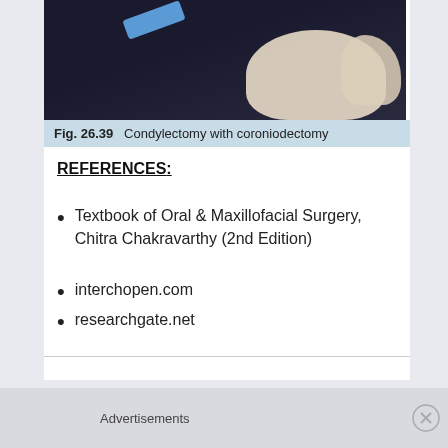[Figure (photo): Photograph of condylectomy with coroniodectomy surgical procedure showing bone specimen on dark background with surgical instrument.]
Fig. 26.39  Condylectomy with coroniodectomy
REFERENCES:
Textbook of Oral & Maxillofacial Surgery, Chitra Chakravarthy (2nd Edition)
interchopen.com
researchgate.net
Advertisements